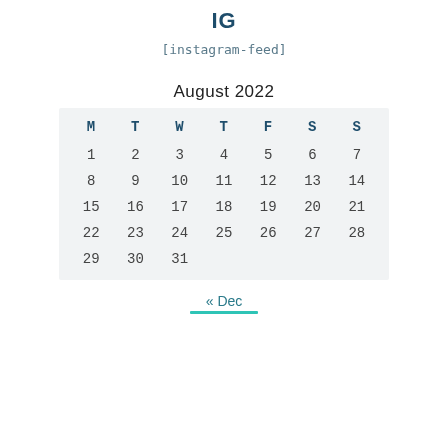IG
[instagram-feed]
August 2022
| M | T | W | T | F | S | S |
| --- | --- | --- | --- | --- | --- | --- |
| 1 | 2 | 3 | 4 | 5 | 6 | 7 |
| 8 | 9 | 10 | 11 | 12 | 13 | 14 |
| 15 | 16 | 17 | 18 | 19 | 20 | 21 |
| 22 | 23 | 24 | 25 | 26 | 27 | 28 |
| 29 | 30 | 31 |  |  |  |  |
« Dec